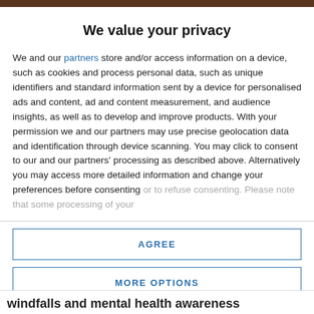We value your privacy
We and our partners store and/or access information on a device, such as cookies and process personal data, such as unique identifiers and standard information sent by a device for personalised ads and content, ad and content measurement, and audience insights, as well as to develop and improve products. With your permission we and our partners may use precise geolocation data and identification through device scanning. You may click to consent to our and our partners' processing as described above. Alternatively you may access more detailed information and change your preferences before consenting or to refuse consenting. Please note that some processing of your
AGREE
MORE OPTIONS
windfalls and mental health awareness